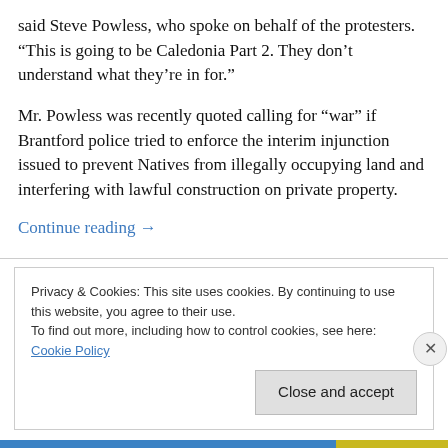said Steve Powless, who spoke on behalf of the protesters. “This is going to be Caledonia Part 2. They don’t understand what they’re in for.”
Mr. Powless was recently quoted calling for “war” if Brantford police tried to enforce the interim injunction issued to prevent Natives from illegally occupying land and interfering with lawful construction on private property.
Continue reading →
Privacy & Cookies: This site uses cookies. By continuing to use this website, you agree to their use.
To find out more, including how to control cookies, see here: Cookie Policy
Close and accept